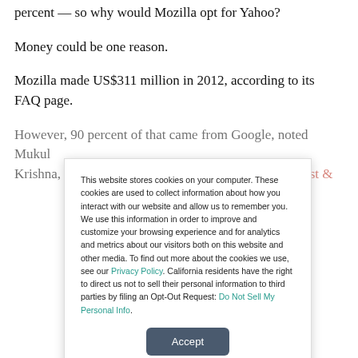percent — so why would Mozilla opt for Yahoo?
Money could be one reason.
Mozilla made US$311 million in 2012, according to its FAQ page.
However, 90 percent of that came from Google, noted Mukul Krishna, senior global director for digital media at Frost &
This website stores cookies on your computer. These cookies are used to collect information about how you interact with our website and allow us to remember you. We use this information in order to improve and customize your browsing experience and for analytics and metrics about our visitors both on this website and other media. To find out more about the cookies we use, see our Privacy Policy. California residents have the right to direct us not to sell their personal information to third parties by filing an Opt-Out Request: Do Not Sell My Personal Info.
Accept